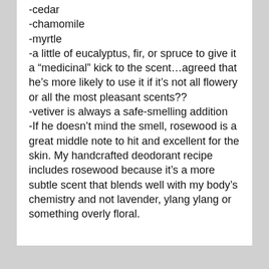-cedar
-chamomile
-myrtle
-a little of eucalyptus, fir, or spruce to give it a “medicinal” kick to the scent…agreed that he’s more likely to use it if it’s not all flowery or all the most pleasant scents??
-vetiver is always a safe-smelling addition
-If he doesn’t mind the smell, rosewood is a great middle note to hit and excellent for the skin. My handcrafted deodorant recipe includes rosewood because it’s a more subtle scent that blends well with my body’s chemistry and not lavender, ylang ylang or something overly floral.